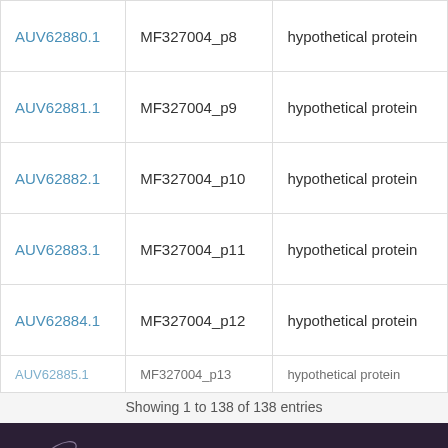| Accession | Locus Tag | Product |
| --- | --- | --- |
| AUV62880.1 | MF327004_p8 | hypothetical protein |
| AUV62881.1 | MF327004_p9 | hypothetical protein |
| AUV62882.1 | MF327004_p10 | hypothetical protein |
| AUV62883.1 | MF327004_p11 | hypothetical protein |
| AUV62884.1 | MF327004_p12 | hypothetical protein |
| AUV62885.1 | MF327004_p13 | hypothetical protein |
Showing 1 to 138 of 138 entries
[Figure (illustration): Dark purple/navy background with white line drawings of bacteriophages (viruses) in various orientations. A large prominent phage is visible on the right side with white body and tail fibers. Smaller phage outlines are scattered on the left.]